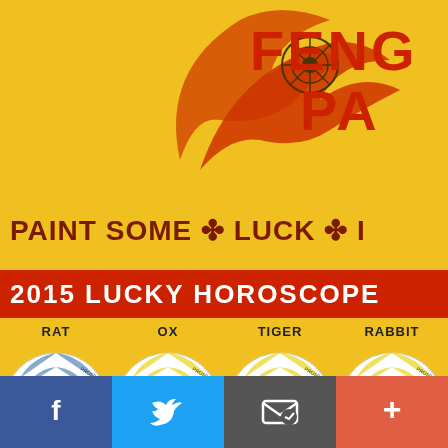FENG... PA...
PAINT SOME ✤ LUCK ✤ I...
2015 LUCKY HOROSCOPE
RAT
OX
TIGER
RABBIT
[Figure (infographic): Chinese zodiac horoscope wheel for RAT showing Prosperity, Health, Harmony segments in blue, orange, white]
[Figure (infographic): Chinese zodiac horoscope wheel for OX showing Prosperity, Health, Harmony segments in yellow, purple, tan]
[Figure (infographic): Chinese zodiac horoscope wheel for TIGER showing Prosperity, Health, Harmony segments in yellow, orange, white]
[Figure (infographic): Chinese zodiac horoscope wheel for RABBIT showing Prosperity, Health, Harmony segments in yellow, red, white]
HORSE
GOAT
MONKEY
ROOSTER
[Figure (infographic): Chinese zodiac horoscope wheel for HORSE showing green, blue, grey segments]
[Figure (infographic): Chinese zodiac horoscope wheel for GOAT showing peach, tan segments]
[Figure (infographic): Chinese zodiac horoscope wheel for MONKEY showing orange, blue segments]
[Figure (infographic): Chinese zodiac horoscope wheel for ROOSTER showing grey, tan segments]
Facebook share | Twitter share | Email share | Add